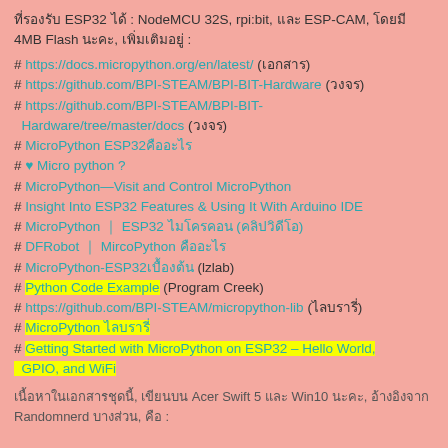ที่รองรับ ESP32 ได้ : NodeMCU 32S, rpi:bit, และ ESP-CAM, โดยมี 4MB Flash นะคะ, เพิ่มเติมอยู่ :
# https://docs.micropython.org/en/latest/ (เอกสาร)
# https://github.com/BPI-STEAM/BPI-BIT-Hardware (วงจร)
# https://github.com/BPI-STEAM/BPI-BIT-Hardware/tree/master/docs (วงจร)
# MicroPython ESP32คืออะไร
# ♥ Micro python ?
# MicroPython—Visit and Control MicroPython
# Insight Into ESP32 Features & Using It With Arduino IDE
# MicroPython ｜ ESP32 ไมโครคอน (คลิปวิดีโอ)
# DFRobot ｜ MircoPython คืออะไร
# MicroPython-ESP32เบื้องต้น (lzlab)
# Python Code Example (Program Creek)
# https://github.com/BPI-STEAM/micropython-lib (ไลบรารี่)
# MicroPython ไลบรารี่
# Getting Started with MicroPython on ESP32 – Hello World, GPIO, and WiFi
เนื้อหาในเอกสารชุดนี้, เขียนบน Acer Swift 5 และ Win10 นะคะ, อ้างอิงจาก Randomnerd บางส่วน, คือ :